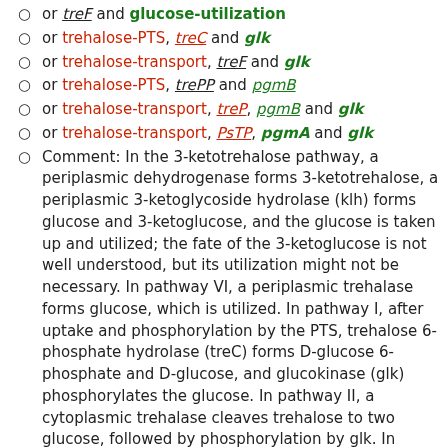or treF and glucose-utilization
or trehalose-PTS, treC and glk
or trehalose-transport, treF and glk
or trehalose-PTS, trePP and pgmB
or trehalose-transport, treP, pgmB and glk
or trehalose-transport, PsTP, pgmA and glk
Comment: In the 3-ketotrehalose pathway, a periplasmic dehydrogenase forms 3-ketotrehalose, a periplasmic 3-ketoglycoside hydrolase (klh) forms glucose and 3-ketoglucose, and the glucose is taken up and utilized; the fate of the 3-ketoglucose is not well understood, but its utilization might not be necessary. In pathway VI, a periplasmic trehalase forms glucose, which is utilized. In pathway I, after uptake and phosphorylation by the PTS, trehalose 6-phosphate hydrolase (treC) forms D-glucose 6-phosphate and D-glucose, and glucokinase (glk) phosphorylates the glucose. In pathway II, a cytoplasmic trehalase cleaves trehalose to two glucose, followed by phosphorylation by glk. In pathway III, after uptake and phosphorylation by the PTS, trehalose-6-phosphate phosphorylase (trePP) forms beta-glucose-1-phosphate and glucose-6-phosphate, and beta-phosphoglucomutase converts glucose-1-phosphate to glucose-6-phosphate. In pathway IV, a secreted